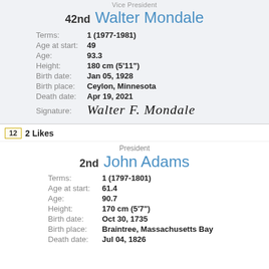Vice President
42nd  Walter Mondale
Terms: 1 (1977-1981)
Age at start: 49
Age: 93.3
Height: 180 cm (5'11")
Birth date: Jan 05, 1928
Birth place: Ceylon, Minnesota
Death date: Apr 19, 2021
Signature: Walter F. Mondale
12  2 Likes
President
2nd  John Adams
Terms: 1 (1797-1801)
Age at start: 61.4
Age: 90.7
Height: 170 cm (5'7")
Birth date: Oct 30, 1735
Birth place: Braintree, Massachusetts Bay
Death date: Jul 04, 1826